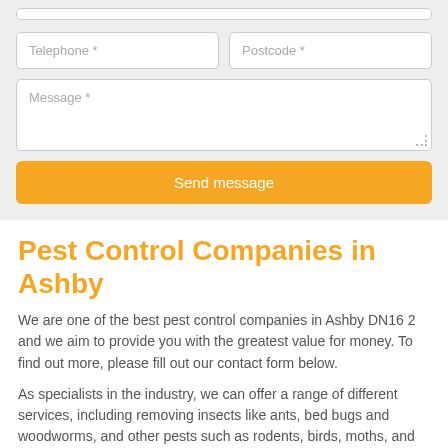[Figure (other): Web form with telephone and postcode input fields, a message textarea, and a Send message button on a light grey background]
Pest Control Companies in Ashby
We are one of the best pest control companies in Ashby DN16 2 and we aim to provide you with the greatest value for money. To find out more, please fill out our contact form below.
As specialists in the industry, we can offer a range of different services, including removing insects like ants, bed bugs and woodworms, and other pests such as rodents, birds, moths, and other flying creatures.